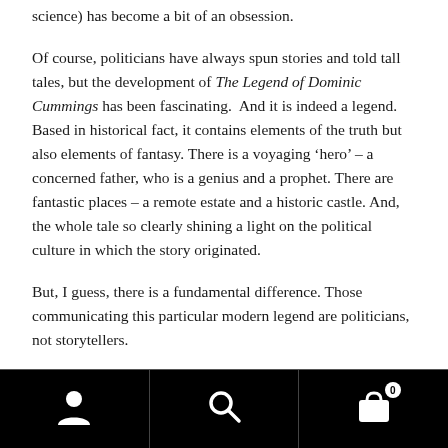science) has become a bit of an obsession.
Of course, politicians have always spun stories and told tall tales, but the development of The Legend of Dominic Cummings has been fascinating. And it is indeed a legend. Based in historical fact, it contains elements of the truth but also elements of fantasy. There is a voyaging ‘hero’ – a concerned father, who is a genius and a prophet. There are fantastic places – a remote estate and a historic castle. And, the whole tale so clearly shining a light on the political culture in which the story originated.
But, I guess, there is a fundamental difference. Those communicating this particular modern legend are politicians, not storytellers.
[Figure (other): Mobile app navigation bar with three icons: user/account icon (left), search icon (centre), shopping cart icon with badge showing 0 (right)]